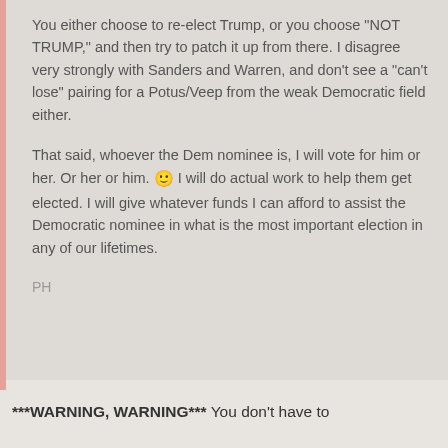You either choose to re-elect Trump, or you choose "NOT TRUMP," and then try to patch it up from there.  I disagree very strongly with Sanders and Warren, and don't see a "can't lose" pairing for a Potus/Veep from the weak Democratic field either.

That said, whoever the Dem nominee is, I will vote for him or her. Or her or him. 🙂 I will do actual work to help them get elected.  I will give whatever funds I can afford to assist the Democratic nominee in what is the most important election in any of our lifetimes.

PH
***WARNING, WARNING*** You don't have to